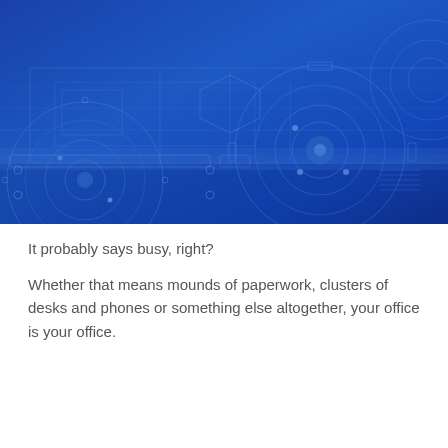[Figure (illustration): Technical blueprint-style illustration on a blue gradient background featuring mechanical engineering drawings, gears, circular components, cross-sections, and schematic lines in lighter blue tones.]
It probably says busy, right?
Whether that means mounds of paperwork, clusters of desks and phones or something else altogether, your office is your office.